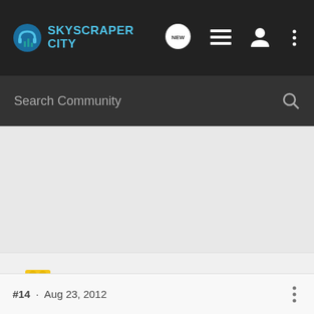[Figure (screenshot): SkyscraperCity forum website header with logo, navigation icons, and search bar]
Legomaniac · Registered 🇺🇸
Joined Jun 30, 2012 · 5,446 Posts
#14 · Aug 23, 2012